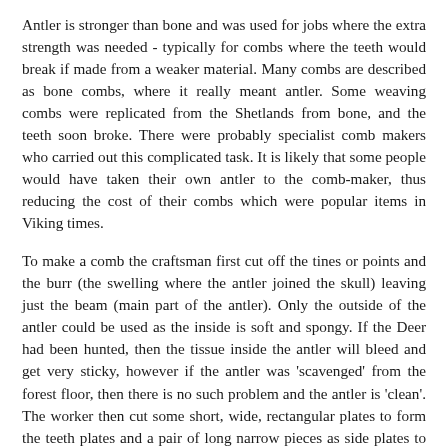Antler is stronger than bone and was used for jobs where the extra strength was needed - typically for combs where the teeth would break if made from a weaker material. Many combs are described as bone combs, where it really meant antler. Some weaving combs were replicated from the Shetlands from bone, and the teeth soon broke. There were probably specialist comb makers who carried out this complicated task. It is likely that some people would have taken their own antler to the comb-maker, thus reducing the cost of their combs which were popular items in Viking times.
To make a comb the craftsman first cut off the tines or points and the burr (the swelling where the antler joined the skull) leaving just the beam (main part of the antler). Only the outside of the antler could be used as the inside is soft and spongy. If the Deer had been hunted, then the tissue inside the antler will bleed and get very sticky, however if the antler was 'scavenged' from the forest floor, then there is no such problem and the antler is 'clean'. The worker then cut some short, wide, rectangular plates to form the teeth plates and a pair of long narrow pieces as side plates to join the teeth plates together (1). Once cut the plates were sanded to shape and smoothed for the tooth plates and the side plates shaped into 'D' sections (2). The side plates were often decorated with simple designs of lines cut into the surface, which could be done at this stage or when the comb is riveted together (3). The tooth plates were then riveted between the side plates and the teeth were then